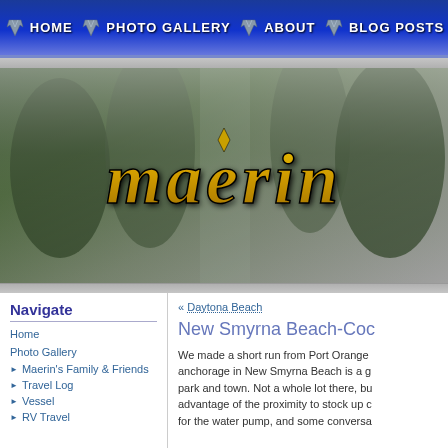HOME   PHOTO GALLERY   ABOUT   BLOG POSTS
[Figure (illustration): Hero banner with forest/misty background and the word 'maerin' in large golden italic fantasy-style font]
Navigate
Home
Photo Gallery
▶ Maerin's Family & Friends
▶ Travel Log
▶ Vessel
▶ RV Travel
« Daytona Beach
New Smyrna Beach-Coc
We made a short run from Port Orange and the anchorage in New Smyrna Beach is a g... park and town. Not a whole lot there, bu... advantage of the proximity to stock up c... for the water pump, and some conversa...